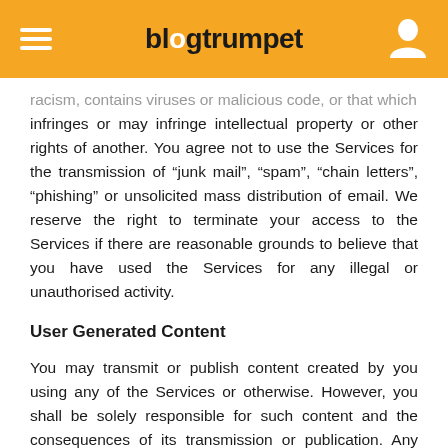blogtrumpet
racism, contains viruses or malicious code, or that which infringes or may infringe intellectual property or other rights of another. You agree not to use the Services for the transmission of “junk mail”, “spam”, “chain letters”, “phishing” or unsolicited mass distribution of email. We reserve the right to terminate your access to the Services if there are reasonable grounds to believe that you have used the Services for any illegal or unauthorised activity.
User Generated Content
You may transmit or publish content created by you using any of the Services or otherwise. However, you shall be solely responsible for such content and the consequences of its transmission or publication. Any content made public will be publicly accessible through the internet and may be